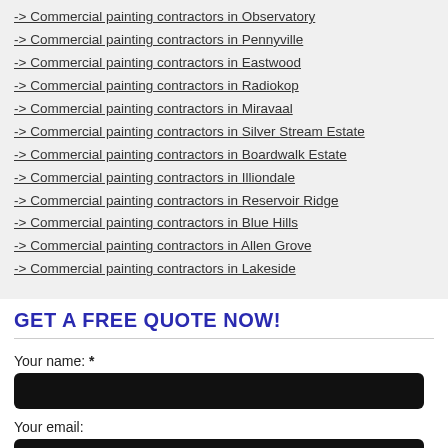-> Commercial painting contractors in Observatory
-> Commercial painting contractors in Pennyville
-> Commercial painting contractors in Eastwood
-> Commercial painting contractors in Radiokop
-> Commercial painting contractors in Miravaal
-> Commercial painting contractors in Silver Stream Estate
-> Commercial painting contractors in Boardwalk Estate
-> Commercial painting contractors in Illiondale
-> Commercial painting contractors in Reservoir Ridge
-> Commercial painting contractors in Blue Hills
-> Commercial painting contractors in Allen Grove
-> Commercial painting contractors in Lakeside
GET A FREE QUOTE NOW!
Your name: *
Your email:
Telephone: *